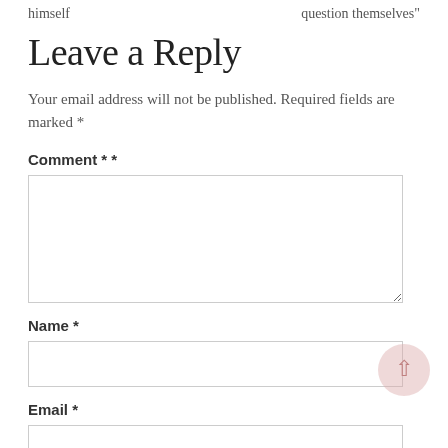himself	question themselves"
Leave a Reply
Your email address will not be published. Required fields are marked *
Comment * *
Name *
Email *